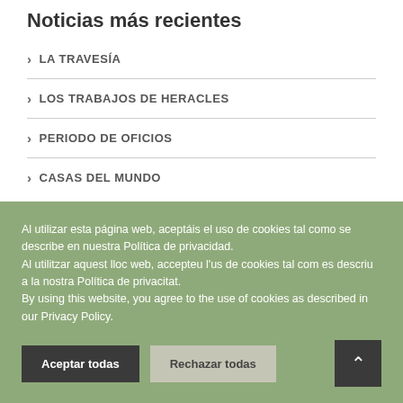Noticias más recientes
LA TRAVESÍA
LOS TRABAJOS DE HERACLES
PERIODO DE OFICIOS
CASAS DEL MUNDO
Al utilizar esta página web, aceptáis el uso de cookies tal como se describe en nuestra Política de privacidad.
Al utilitzar aquest lloc web, accepteu l'us de cookies tal com es descriu a la nostra Política de privacitat.
By using this website, you agree to the use of cookies as described in our Privacy Policy.
Aceptar todas | Rechazar todas